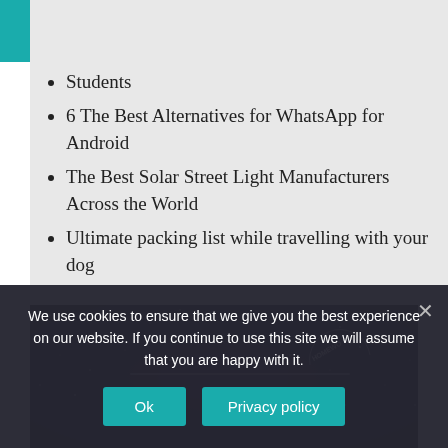Students
6 The Best Alternatives for WhatsApp for Android
The Best Solar Street Light Manufacturers Across the World
Ultimate packing list while travelling with your dog
[Figure (photo): Dark night sky photo with stars and a circular 'HOMEWOOD' text badge]
We use cookies to ensure that we give you the best experience on our website. If you continue to use this site we will assume that you are happy with it.